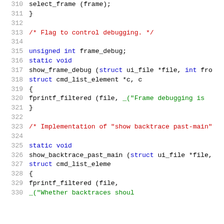Code listing lines 310-330 showing C source code for frame debugging and show_backtrace_past_main functions